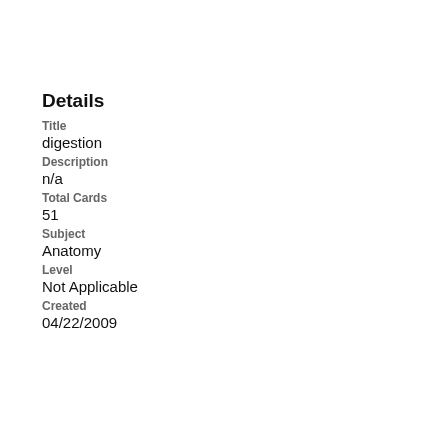Details
Title
digestion
Description
n/a
Total Cards
51
Subject
Anatomy
Level
Not Applicable
Created
04/22/2009